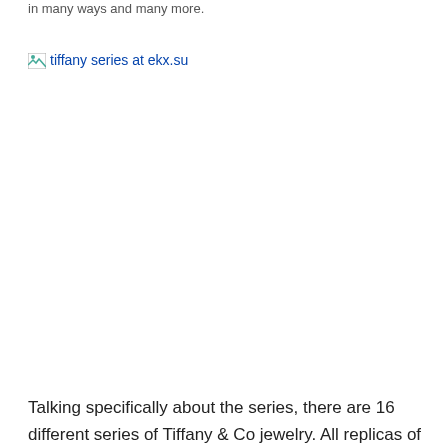in many ways and many more.
[Figure (other): Broken image placeholder with alt text 'tiffany series at ekx.su']
Talking specifically about the series, there are 16 different series of Tiffany & Co jewelry. All replicas of the...